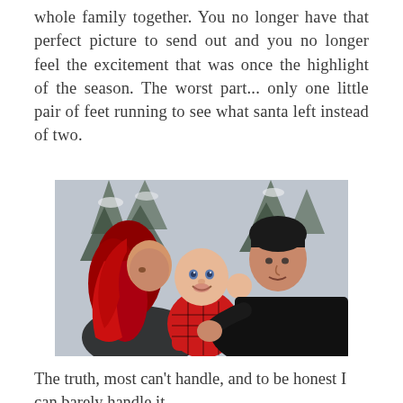whole family together. You no longer have that perfect picture to send out and you no longer feel the excitement that was once the highlight of the season. The worst part... only one little pair of feet running to see what santa left instead of two.
[Figure (photo): A family photo with a woman with long red hair on the left, a smiling baby in a red plaid outfit in the center, and a man in a black shirt on the right. Background shows a snowy forest scene.]
The truth, most can't handle, and to be honest I can barely handle it.